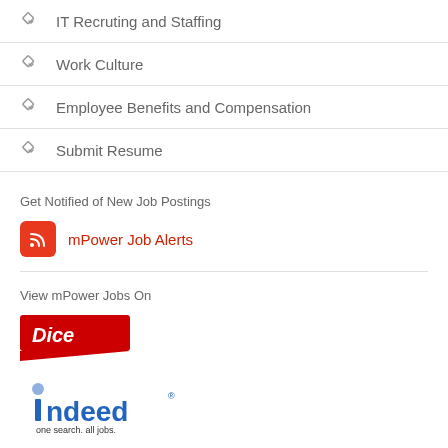IT Recruting and Staffing
Work Culture
Employee Benefits and Compensation
Submit Resume
Get Notified of New Job Postings
mPower Job Alerts
View mPower Jobs On
[Figure (logo): Dice logo - red badge with white italic bold text 'Dice']
[Figure (logo): Indeed logo - blue text 'indeed' with dot over i, tagline 'one search. all jobs.']